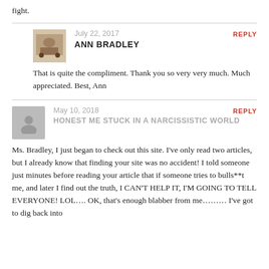fight.
July 22, 2017
ANN BRADLEY
REPLY
That is quite the compliment. Thank you so very very much. Much appreciated. Best, Ann
May 10, 2018
HONEST ME STUCK IN A NARCISSISTIC WORLD
REPLY
Ms. Bradley, I just began to check out this site. I've only read two articles, but I already know that finding your site was no accident! I told someone just minutes before reading your article that if someone tries to bulls**t me, and later I find out the truth, I CAN'T HELP IT, I'M GOING TO TELL EVERYONE! LOL.... OK, that's enough blabber from me......... I've got to dig back into